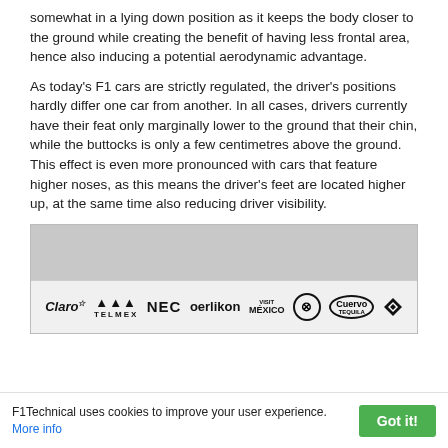somewhat in a lying down position as it keeps the body closer to the ground while creating the benefit of having less frontal area, hence also inducing a potential aerodynamic advantage.
As today’s F1 cars are strictly regulated, the driver’s positions hardly differ one car from another. In all cases, drivers currently have their feat only marginally lower to the ground that their chin, while the buttocks is only a few centimetres above the ground. This effect is even more pronounced with cars that feature higher noses, as this means the driver’s feet are located higher up, at the same time also reducing driver visibility.
[Figure (photo): A photo of an F1 car's sponsor logos on what appears to be a bodywork panel. Logos visible include Claro, Telmex, NEC, oerlikon, Visit Mexico, a circular logo, Cuervo Tequila, and another diamond-shaped logo.]
F1Technical uses cookies to improve your user experience. More info